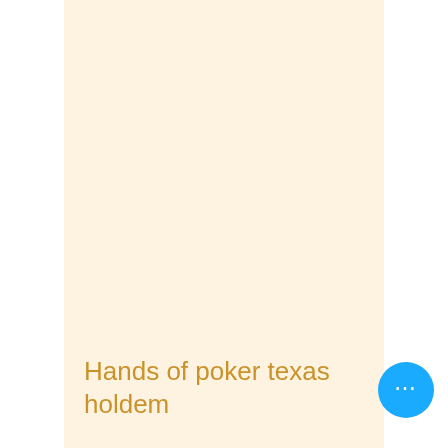Hands of poker texas holdem
[Figure (other): Blue circular button with three white dots (ellipsis/more options button)]